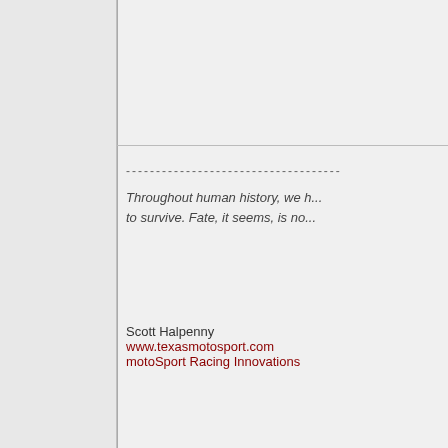------------------------------------
Throughout human history, we h... to survive. Fate, it seems, is no...
Scott Halpenny
www.texasmotosport.com
motoSport Racing Innovations
04-19-2004, 10:34 AM
Jason Keene
Senior Member
| Join Date: | Nov 2003 |
| Location: | Elgin Texas |
| Posts: | 2,040 |
Re: VP Fuels at Cresson.
did you find my book yet? :p
04-19-2004, 10:34 AM